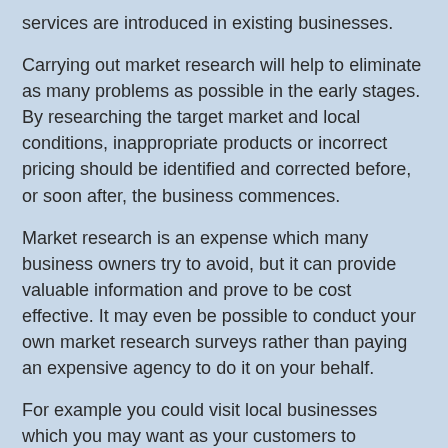services are introduced in existing businesses.
Carrying out market research will help to eliminate as many problems as possible in the early stages. By researching the target market and local conditions, inappropriate products or incorrect pricing should be identified and corrected before, or soon after, the business commences.
Market research is an expense which many business owners try to avoid, but it can provide valuable information and prove to be cost effective. It may even be possible to conduct your own market research surveys rather than paying an expensive agency to do it on your behalf.
For example you could visit local businesses which you may want as your customers to canvass opinion on your product, or if your target market is made up of consumers, you could survey shoppers in the local town centre.
Gaining credibility for a business venture can be extremely difficult and so market research is important to assist in obtaining finance for the business.